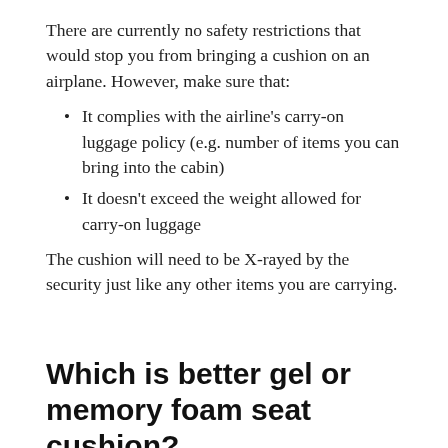There are currently no safety restrictions that would stop you from bringing a cushion on an airplane. However, make sure that:
It complies with the airline's carry-on luggage policy (e.g. number of items you can bring into the cabin)
It doesn't exceed the weight allowed for carry-on luggage
The cushion will need to be X-rayed by the security just like any other items you are carrying.
Which is better gel or memory foam seat cushion?